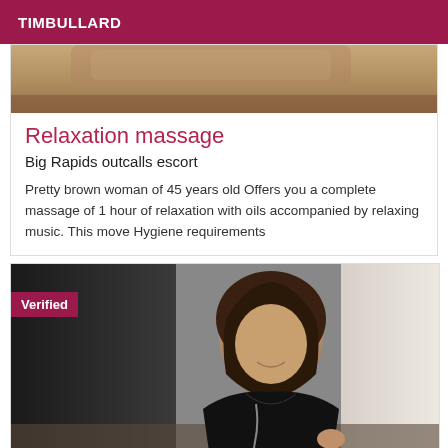TIMBULLARD
[Figure (photo): Partial photo showing a wooden floor surface, top of image cut off]
Relaxation massage
Big Rapids outcalls escort
Pretty brown woman of 45 years old Offers you a complete massage of 1 hour of relaxation with oils accompanied by relaxing music. This move Hygiene requirements
[Figure (photo): Photo of a woman in a black outfit standing near a door, with a 'Verified' badge overlay in the top-left corner]